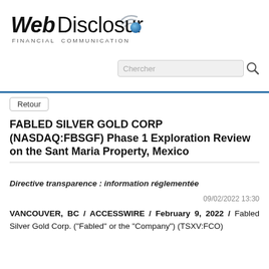[Figure (logo): WebDisclosure logo with italic bold 'Web' and regular 'Disclosure', a wifi signal arc icon in top right, a blue sphere/dot after the text, and subtitle 'FINANCIAL COMMUNICATION']
[Figure (other): Search box with placeholder text 'Chercher' and a magnifying glass icon to the right]
Retour
FABLED SILVER GOLD CORP (NASDAQ:FBSGF) Phase 1 Exploration Review on the Sant Maria Property, Mexico
Directive transparence : information réglementée
09/02/2022 13:30
VANCOUVER, BC / ACCESSWIRE / February 9, 2022 / Fabled Silver Gold Corp. ("Fabled" or the "Company") (TSXV:FCO)